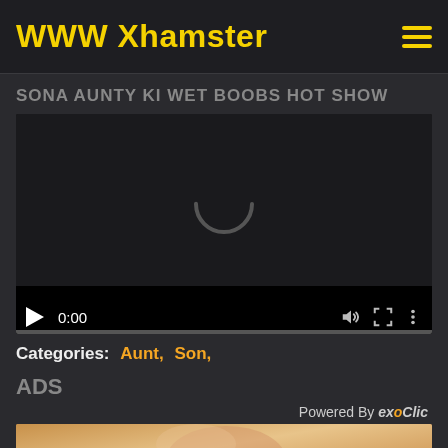WWW Xhamster
SONA AUNTY KI WET BOOBS HOT SHOW
[Figure (screenshot): Video player showing a loading spinner, play button, time display 0:00, volume, fullscreen, and more controls on a dark background]
Categories: Aunt, Son,
ADS
Powered By exoClic
[Figure (photo): Partial ad image showing a woman's face]